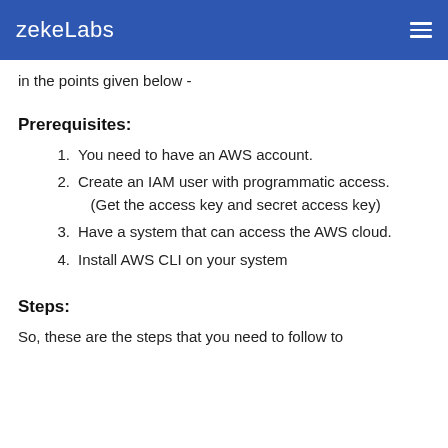zekeLabs
in the points given below -
Prerequisites:
1.  You need to have an AWS account.
2. Create an IAM user with programmatic access. (Get the access key and secret access key)
3. Have a system that can access the AWS cloud.
4. Install AWS CLI on your system
Steps:
So, these are the steps that you need to follow to